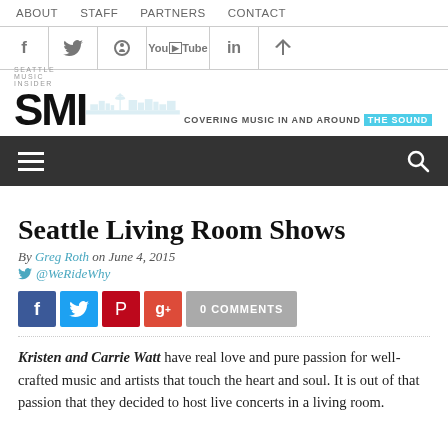ABOUT  STAFF  PARTNERS  CONTACT
[Figure (logo): SMI Seattle Music Insider logo with skyline silhouette and tagline COVERING MUSIC IN AND AROUND THE SOUND]
Seattle Living Room Shows
By Greg Roth on June 4, 2015
@WeRideWhy
0 COMMENTS
Kristen and Carrie Watt have real love and pure passion for well-crafted music and artists that touch the heart and soul. It is out of that passion that they decided to host live concerts in a living room.